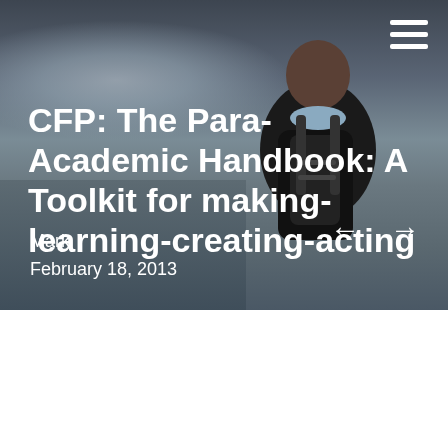[Figure (photo): A person with a shaved head and backpack seen from behind, standing near water with a dramatic cloudy sky background. The image serves as a full-width hero banner for a blog post or article.]
CFP: The Para-Academic Handbook: A Toolkit for making-learning-creating-acting
Mark
February 18, 2013